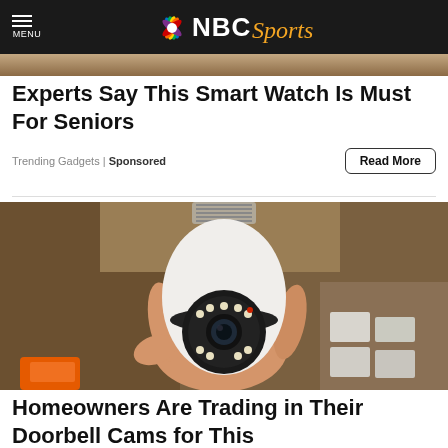MENU | NBC Sports
[Figure (photo): Partial view of a smart watch advertisement image strip]
Experts Say This Smart Watch Is Must For Seniors
Trending Gadgets | Sponsored
Read More
[Figure (photo): A hand holding a light bulb-shaped security camera with a lens and LED lights on the front, against a wooden shelf background]
Homeowners Are Trading in Their Doorbell Cams for This